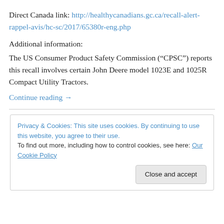Direct Canada link: http://healthycanadians.gc.ca/recall-alert-rappel-avis/hc-sc/2017/65380r-eng.php
Additional information:
The US Consumer Product Safety Commission (“CPSC”) reports this recall involves certain John Deere model 1023E and 1025R Compact Utility Tractors.
Continue reading →
Privacy & Cookies: This site uses cookies. By continuing to use this website, you agree to their use.
To find out more, including how to control cookies, see here: Our Cookie Policy
Close and accept